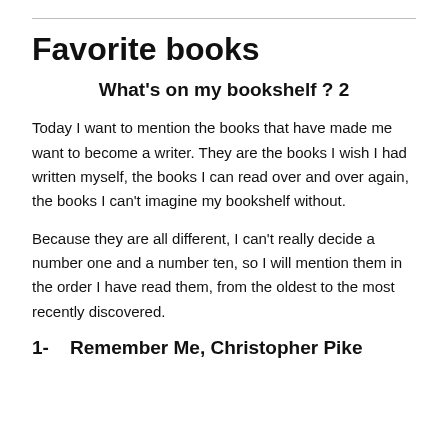Favorite books
What's on my bookshelf ? 2
Today I want to mention the books that have made me want to become a writer. They are the books I wish I had written myself, the books I can read over and over again, the books I can't imagine my bookshelf without.
Because they are all different, I can't really decide a number one and a number ten, so I will mention them in the order I have read them, from the oldest to the most recently discovered.
1-    Remember Me, Christopher Pike